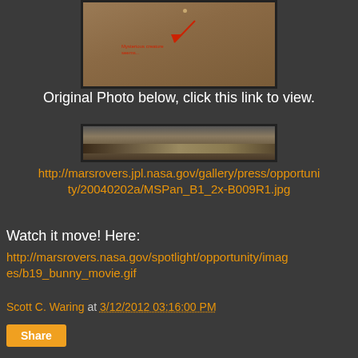[Figure (photo): Mars surface photo with red arrow pointing to an anomaly (small dot/object). Red annotation text below the arrow. Dark border frame.]
Original Photo below, click this link to view.
[Figure (photo): Panoramic strip image of Mars surface, thin horizontal panorama shot, dark background with tan/brown terrain.]
http://marsrovers.jpl.nasa.gov/gallery/press/opportunity/20040202a/MSPan_B1_2x-B009R1.jpg
Watch it move! Here:
http://marsrovers.nasa.gov/spotlight/opportunity/images/b19_bunny_movie.gif
Scott C. Waring at 3/12/2012 03:16:00 PM
Share